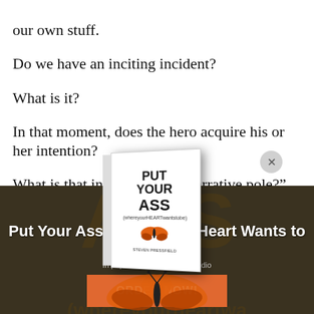our own stuff.
Do we have an inciting incident?
What is it?
In that moment, does the hero acquire his or her intention?
What is that intention... rst “narrative pole?”
[Figure (illustration): Book cover popup for 'Put Your Ass Where Your Heart Wants to Be' with a close button, displayed over a dark book background image]
Put Your Ass Where Your Heart Wants to Be
In paperback, eBook, and audio
ORDER NOW!